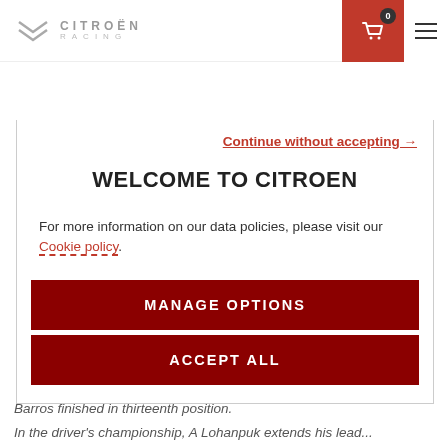CITROËN RACING
[Figure (screenshot): Citroen Racing car partially visible at top, white and blue race car]
Continue without accepting →
WELCOME TO CITROEN
For more information on our data policies, please visit our Cookie policy.
MANAGE OPTIONS
ACCEPT ALL
Barros finished in thirteenth position.
In the driver's championship, A Lohanpuk extends his lead...